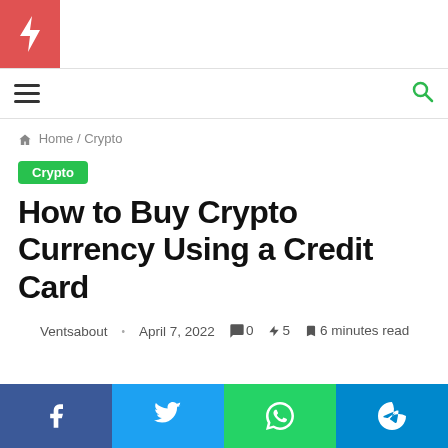⚡
Home / Crypto
Crypto
How to Buy Crypto Currency Using a Credit Card
Ventsabout · April 7, 2022 💬 0 🔥 5 🔖 6 minutes read